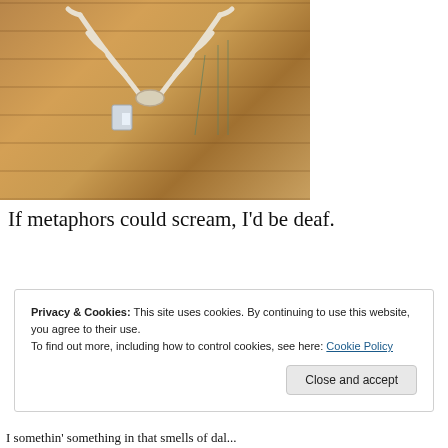[Figure (photo): Photo of deer antlers mounted on a log cabin wood wall, with decorative wind chimes or hanging objects nearby.]
If metaphors could scream, I'd be deaf.
[Figure (infographic): Advertisement banner with gradient from blue to yellow-green to gold. Text partially obscured. Small 'REPORT THIS AD' link at bottom right.]
Privacy & Cookies: This site uses cookies. By continuing to use this website, you agree to their use.
To find out more, including how to control cookies, see here: Cookie Policy
Close and accept
I somethin' something in that smells of dal...